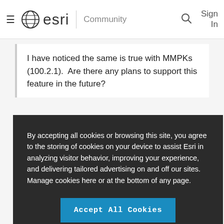≡  esri  |  Community  [search icon]  Sign In
I have noticed the same is true with MMPKs (100.2.1).  Are there any plans to support this feature in the future?
By accepting all cookies or browsing this site, you agree to the storing of cookies on your device to assist Esri in analyzing visitor behavior, improving your experience, and delivering tailored advertising on and off our sites. Manage cookies here or at the bottom of any page.
Accept All Cookies
Cookies Settings
scale support.